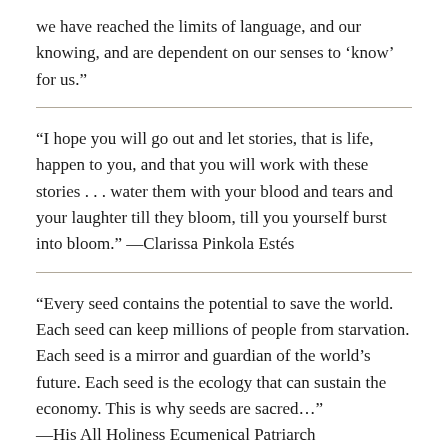we have reached the limits of language, and our knowing, and are dependent on our senses to ‘know’ for us.”
“I hope you will go out and let stories, that is life, happen to you, and that you will work with these stories . . . water them with your blood and tears and your laughter till they bloom, till you yourself burst into bloom.” —Clarissa Pinkola Estés
“Every seed contains the potential to save the world. Each seed can keep millions of people from starvation. Each seed is a mirror and guardian of the world’s future. Each seed is the ecology that can sustain the economy. This is why seeds are sacred…” —His All Holiness Ecumenical Patriarch Bartholomew